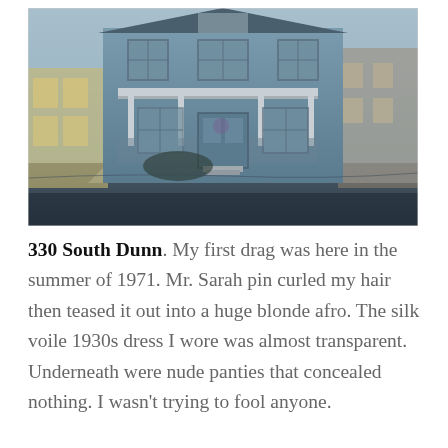[Figure (photo): Exterior photograph of a two-story blue/grey house at 330 South Dunn, taken from street level. The house has a covered front porch, multiple windows, and steps leading to the entrance. Adjacent structures visible on left and right. Street and sidewalk in foreground.]
330 South Dunn. My first drag was here in the summer of 1971. Mr. Sarah pin curled my hair then teased it out into a huge blonde afro. The silk voile 1930s dress I wore was almost transparent. Underneath were nude panties that concealed nothing. I wasn't trying to fool anyone.